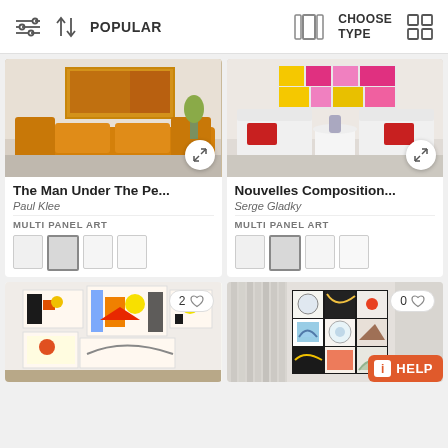[Figure (screenshot): App toolbar with filter icon, sort by Popular, choose type panel icon, and grid view icon]
[Figure (photo): Room scene with orange sofa and abstract painting on wall - product image for 'The Man Under The Pe...' by Paul Klee]
The Man Under The Pe...
Paul Klee
MULTI PANEL ART
[Figure (photo): Room scene with white armchairs and colorful geometric painting - product image for 'Nouvelles Composition...' by Serge Gladky]
Nouvelles Composition...
Serge Gladky
MULTI PANEL ART
[Figure (photo): Multi-panel abstract art piece with colorful figures and patterns, 2 likes]
[Figure (photo): Multi-panel abstract circular art piece, 0 likes]